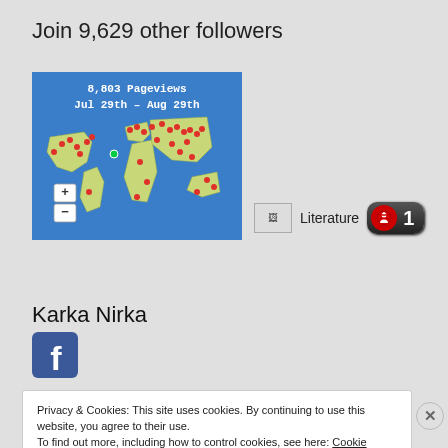Join 9,629 other followers
[Figure (map): World map showing 8,803 Pageviews from Jul 29th - Aug 29th with red dot markers across various countries and zoom buttons]
Literature
Karka Nirka
[Figure (logo): Facebook logo icon (blue square with white f)]
Privacy & Cookies: This site uses cookies. By continuing to use this website, you agree to their use.
To find out more, including how to control cookies, see here: Cookie Policy
Close and accept